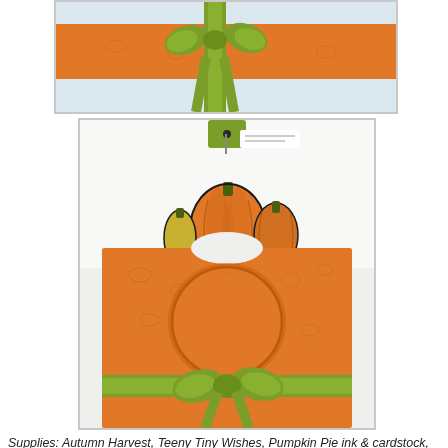[Figure (photo): Top cropped photo showing an orange embossed band with a green ribbon/bow on a light blue background]
[Figure (photo): Main photo showing a handmade gift bag/card: orange embossed cardstock with a circular cutout, green ribbon bow at bottom, and a clear acetate overlay with stamped pumpkins (orange, yellow-green), plus a small green tag at top]
Supplies: Autumn Harvest, Teeny Tiny Wishes, Pumpkin Pie ink & cardstock, Old Olive cardstock, Whisper White cardstock, Jet Black Staz-On, Window Sheets, Watercolor Wonder Crayons, Aquapainter, 1-